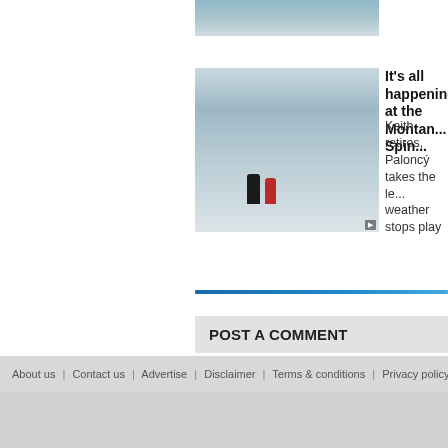[Figure (photo): Partial mountain/landscape photo at top]
[Figure (photo): Two hikers in snowy mountain landscape]
It's all happening at the Montan... Spin...
Keith retires, Paloncý takes the le... weather stops play
POST A COMMENT
You must be a registered user to comment on thi...
If you already a member of the Run247 commun...
If you are not yet signed up, please click here to...
About us  |  Contact us  |  Advertise  |  Disclaimer  |  Terms & conditions  |  Privacy policy  |  Copyri...